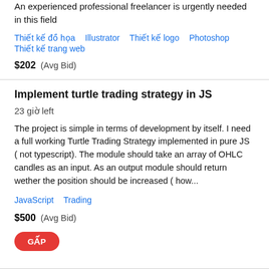An experienced professional freelancer is urgently needed in this field
Thiết kế đồ họa   Illustrator   Thiết kế logo   Photoshop   Thiết kế trang web
$202  (Avg Bid)
Implement turtle trading strategy in JS  23 giờ left
The project is simple in terms of development by itself. I need a full working Turtle Trading Strategy implemented in pure JS ( not typescript). The module should take an array of OHLC candles as an input. As an output module should return wether the position should be increased ( how...
JavaScript   Trading
$500  (Avg Bid)
GẤP